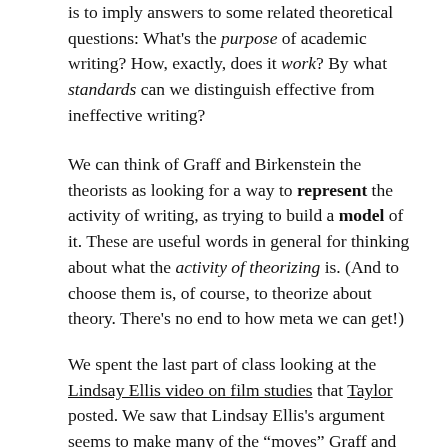is to imply answers to some related theoretical questions: What's the purpose of academic writing? How, exactly, does it work? By what standards can we distinguish effective from ineffective writing?
We can think of Graff and Birkenstein the theorists as looking for a way to represent the activity of writing, as trying to build a model of it. These are useful words in general for thinking about what the activity of theorizing is. (And to choose them is, of course, to theorize about theory. There's no end to how meta we can get!)
We spent the last part of class looking at the Lindsay Ellis video on film studies that Taylor posted. We saw that Lindsay Ellis's argument seems to make many of the "moves" Graff and Birkenstein describe – that her argument fits their model of argumentation quite well. We also saw that to make her argument, she, too had to move up one level of abstraction; she, too, had to